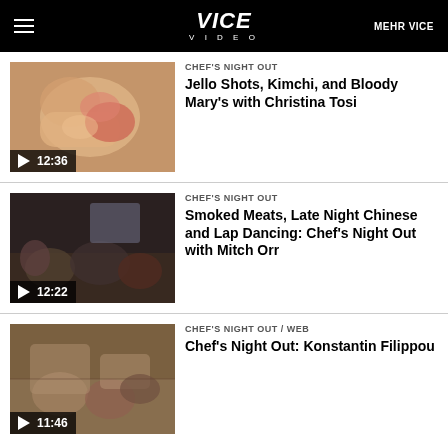VICE VIDEO | MEHR VICE
[Figure (screenshot): Video thumbnail showing jello shots and food items]
CHEF'S NIGHT OUT
Jello Shots, Kimchi, and Bloody Mary's with Christina Tosi
[Figure (screenshot): Video thumbnail showing people at a restaurant late night]
CHEF'S NIGHT OUT
Smoked Meats, Late Night Chinese and Lap Dancing: Chef's Night Out with Mitch Orr
[Figure (screenshot): Video thumbnail showing people dining at restaurant]
CHEF'S NIGHT OUT / WEB
Chef's Night Out: Konstantin Filippou